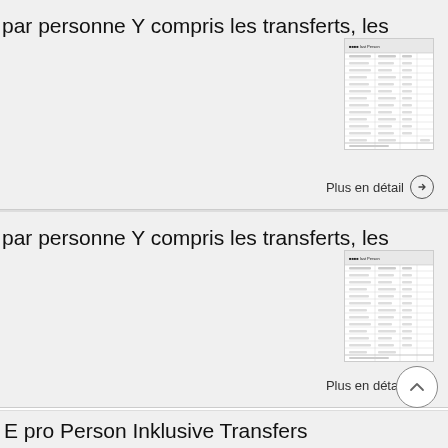par personne Y compris les transferts, les
[Figure (screenshot): Thumbnail of a document page showing a table with rows and columns, small text, appears to be a price list or tariff document]
Plus en détail →
par personne Y compris les transferts, les
[Figure (screenshot): Thumbnail of a document page showing a table with rows and columns, similar to the one above]
Plus en détail →
E pro Person Inklusive Transfers